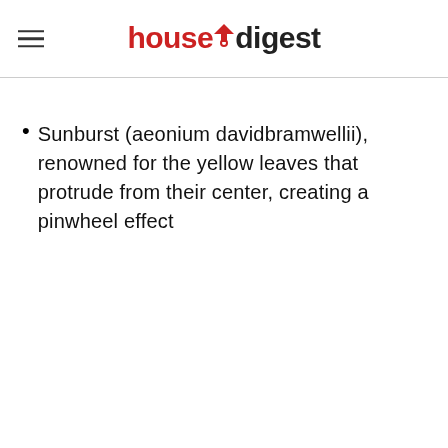housedigest
Sunburst (aeonium davidbramwellii), renowned for the yellow leaves that protrude from their center, creating a pinwheel effect